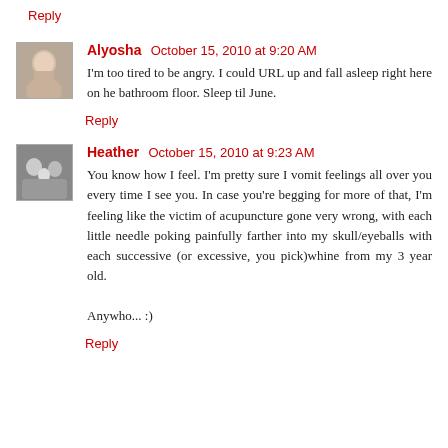Reply
Alyosha  October 15, 2010 at 9:20 AM
I'm too tired to be angry. I could URL up and fall asleep right here on he bathroom floor. Sleep til June.
Reply
Heather  October 15, 2010 at 9:23 AM
You know how I feel. I'm pretty sure I vomit feelings all over you every time I see you. In case you're begging for more of that, I'm feeling like the victim of acupuncture gone very wrong, with each little needle poking painfully farther into my skull/eyeballs with each successive (or excessive, you pick)whine from my 3 year old.

Anywho... :)
Reply